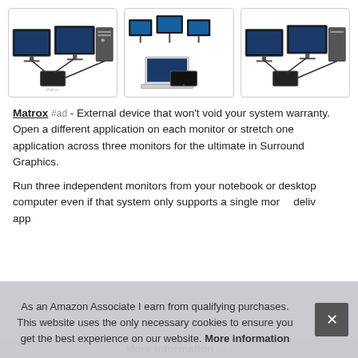[Figure (photo): Three product images showing multi-monitor setups with Matrox external graphics device]
Matrox #ad - External device that won't void your system warranty. Open a different application on each monitor or stretch one application across three monitors for the ultimate in Surround Graphics.
Run three independent monitors from your notebook or desktop computer even if that system only supports a single monitor. The device plugs into your existing USB port and delivers hardware-accelerated, multi-monitor graphics for applications...
As an Amazon Associate I earn from qualifying purchases. This website uses the only necessary cookies to ensure you get the best experience on our website. More information
More Information #ad